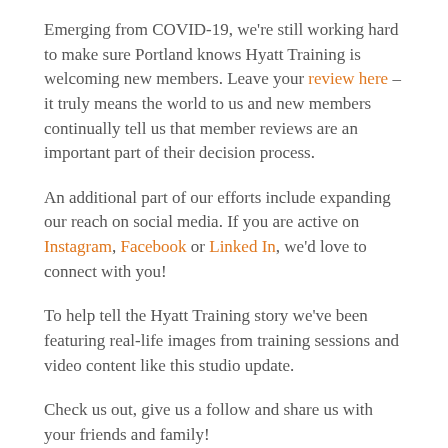Emerging from COVID-19, we're still working hard to make sure Portland knows Hyatt Training is welcoming new members. Leave your review here – it truly means the world to us and new members continually tell us that member reviews are an important part of their decision process.
An additional part of our efforts include expanding our reach on social media. If you are active on Instagram, Facebook or Linked In, we'd love to connect with you!
To help tell the Hyatt Training story we've been featuring real-life images from training sessions and video content like this studio update.
Check us out, give us a follow and share us with your friends and family!